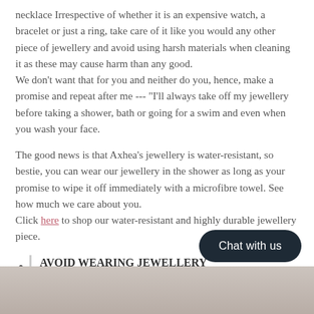necklace Irrespective of whether it is an expensive watch, a bracelet or just a ring, take care of it like you would any other piece of jewellery and avoid using harsh materials when cleaning it as these may cause harm than any good. We don't want that for you and neither do you, hence, make a promise and repeat after me --- "I'll always take off my jewellery before taking a shower, bath or going for a swim and even when you wash your face.
The good news is that Axhea's jewellery is water-resistant, so bestie, you can wear our jewellery in the shower as long as your promise to wipe it off immediately with a microfibre towel. See how much we care about you. Click here to shop our water-resistant and highly durable jewellery piece.
AVOID WEARING JEWELLERY
Seriously tho!
[Figure (photo): Photo strip at bottom of page showing hands or jewellery, partially visible]